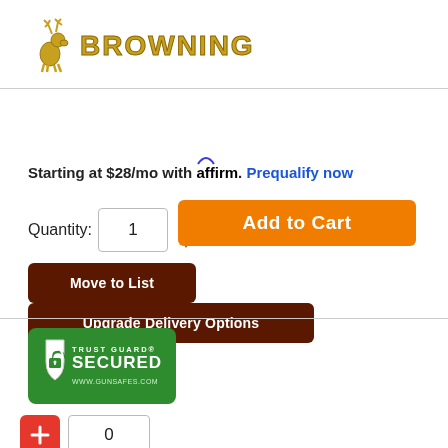[Figure (logo): Browning brand logo with deer/buck icon and stylized BROWNING text in gold]
Starting at $28/mo with affirm. Prequalify now
Quantity: 1
Add to Cart
Move to List
Upgrade Delivery Options
[Figure (logo): Trust Guard Secured badge - green shield with lock icon, text: TRUST GUARD SECURED www.gunsafes.com]
0